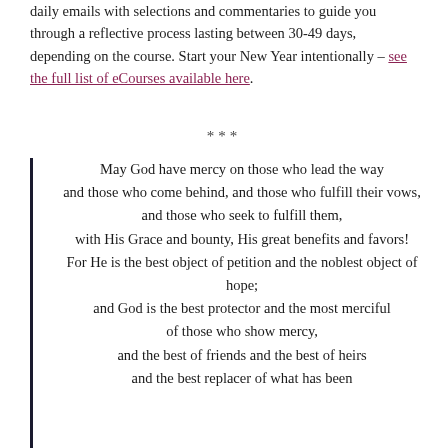daily emails with selections and commentaries to guide you through a reflective process lasting between 30-49 days, depending on the course. Start your New Year intentionally – see the full list of eCourses available here.
***
May God have mercy on those who lead the way
and those who come behind, and those who fulfill their vows,
and those who seek to fulfill them,
with His Grace and bounty, His great benefits and favors!
For He is the best object of petition and the noblest object of hope;
and God is the best protector and the most merciful
of those who show mercy,
and the best of friends and the best of heirs
and the best replacer of what has been